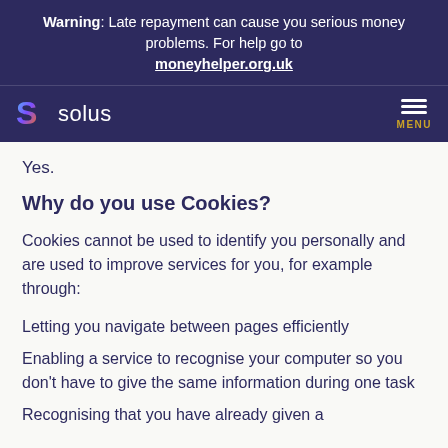Warning: Late repayment can cause you serious money problems. For help go to moneyhelper.org.uk
solus MENU
Yes.
Why do you use Cookies?
Cookies cannot be used to identify you personally and are used to improve services for you, for example through:
Letting you navigate between pages efficiently
Enabling a service to recognise your computer so you don't have to give the same information during one task
Recognising that you have already given a